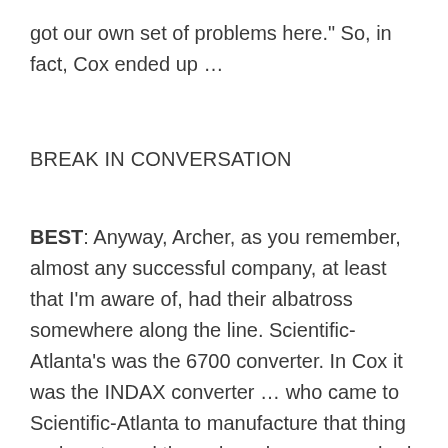got our own set of problems here." So, in fact, Cox ended up …
BREAK IN CONVERSATION
BEST: Anyway, Archer, as you remember, almost any successful company, at least that I'm aware of, had their albatross somewhere along the line. Scientific-Atlanta's was the 6700 converter. In Cox it was the INDAX converter … who came to Scientific-Atlanta to manufacture that thing and we turned them down because we had our own set of problems with